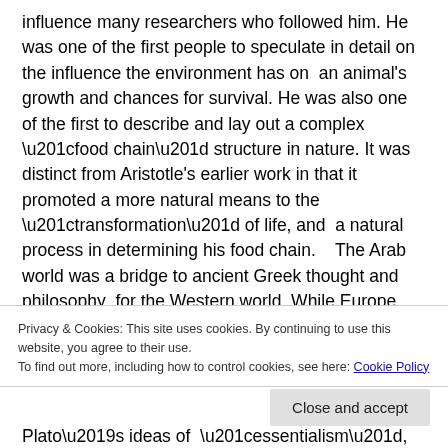influence many researchers who followed him. He was one of the first people to speculate in detail on the influence the environment has on an animal's growth and chances for survival. He was also one of the first to describe and lay out a complex “food chain” structure in nature. It was distinct from Aristotle's earlier work in that it promoted a more natural means to the “transformation” of life, and a natural process in determining his food chain. The Arab world was a bridge to ancient Greek thought and philosophy for the Western world. While Europe toiled in the “Dark Ages”, the Middle East became a scientific “mecca”, if you’ll pardon the
Privacy & Cookies: This site uses cookies. By continuing to use this website, you agree to their use.
To find out more, including how to control cookies, see here: Cookie Policy
Close and accept
Plato’s ideas of  “essentialism”, that all has existed as it was.